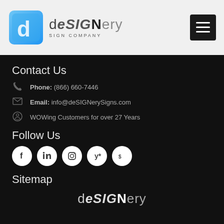[Figure (logo): deSIGNery Sign Company logo — blue cube icon with white 'd' letter on left, company name 'deSIGNery SIGN COMPANY' on right]
[Figure (other): Hamburger menu button (three horizontal lines) on dark square background]
Contact Us
Phone: (866) 660-7446
Email: info@deSIGNerySigns.com
WOWing Customers for over 27 Years
Follow Us
[Figure (other): Five social media icon circles: Facebook (f), LinkedIn, Instagram, Yelp, BBB]
Sitemap
[Figure (logo): deSIGNery logo text in white at bottom of page]